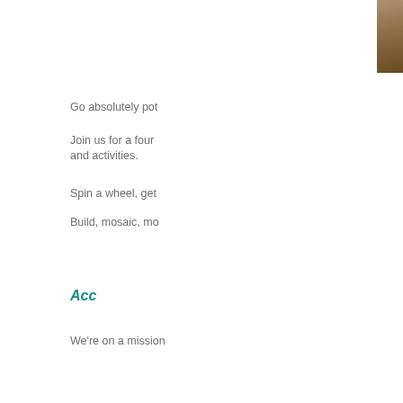[Figure (photo): Partial photo in upper right corner, showing a brown/tan textured surface, cropped at page edge]
Go absolutely pot
Join us for a four and activities.
Spin a wheel, get
Build, mosaic, mo
Acc
We're on a mission